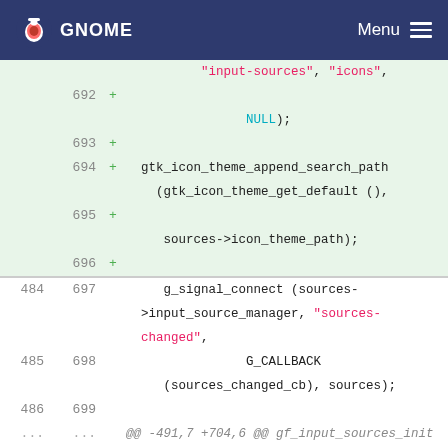GNOME | Menu
[Figure (screenshot): Code diff view showing lines 692-704 with added and context lines from a GTK/GNOME source file. Shows g_signal_connect, gtk_icon_theme_append_search_path, NULL, G_CALLBACK, sources_changed_cb, and related code.]